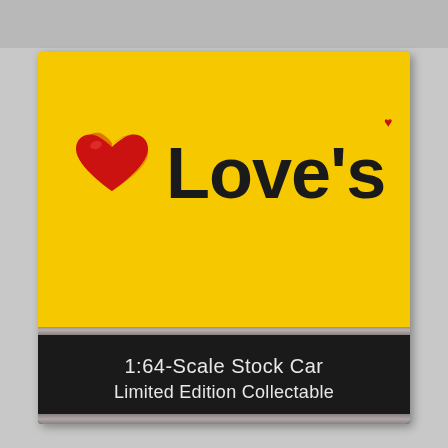[Figure (photo): Love's Travel Stops branded box for a 1:64-Scale Stock Car Limited Edition Collectable. The box is predominantly yellow with the Love's logo (stacked layered hearts icon in red/orange and the word 'Love's' in bold black text with a small red heart above the apostrophe). The bottom portion of the box has a dark/black band with silver metallic stripes at top and bottom, containing white text reading '1:64-Scale Stock Car' and 'Limited Edition Collectable'.]